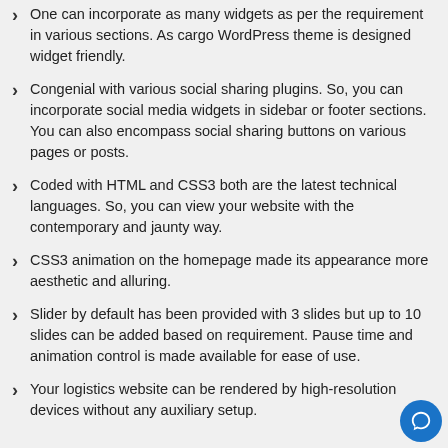One can incorporate as many widgets as per the requirement in various sections. As cargo WordPress theme is designed widget friendly.
Congenial with various social sharing plugins. So, you can incorporate social media widgets in sidebar or footer sections. You can also encompass social sharing buttons on various pages or posts.
Coded with HTML and CSS3 both are the latest technical languages. So, you can view your website with the contemporary and jaunty way.
CSS3 animation on the homepage made its appearance more aesthetic and alluring.
Slider by default has been provided with 3 slides but up to 10 slides can be added based on requirement. Pause time and animation control is made available for ease of use.
Your logistics website can be rendered by high-resolution devices without any auxiliary setup.